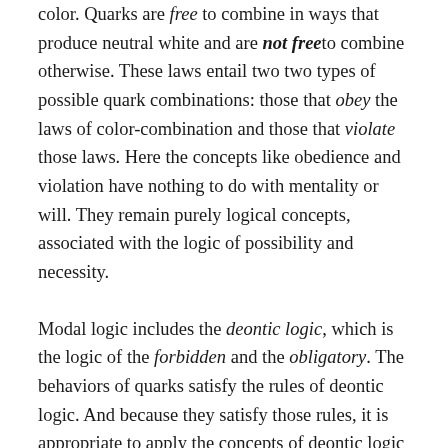color. Quarks are free to combine in ways that produce neutral white and are not free to combine otherwise. These laws entail two two types of possible quark combinations: those that obey the laws of color-combination and those that violate those laws. Here the concepts like obedience and violation have nothing to do with mentality or will. They remain purely logical concepts, associated with the logic of possibility and necessity.
Modal logic includes the deontic logic, which is the logic of the forbidden and the obligatory. The behaviors of quarks satisfy the rules of deontic logic. And because they satisfy those rules, it is appropriate to apply the concepts of deontic logic to quarks. The laws of color-combination entail that quarks are forbidden to combine into